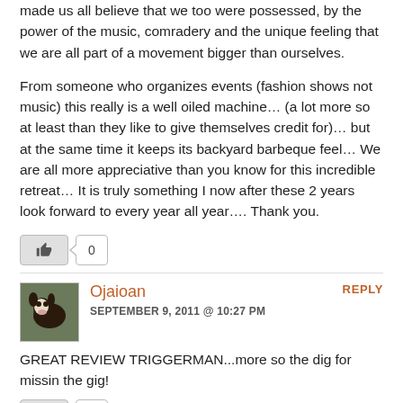made us all believe that we too were possessed, by the power of the music, comradery and the unique feeling that we are all part of a movement bigger than ourselves.
From someone who organizes events (fashion shows not music) this really is a well oiled machine… (a lot more so at least than they like to give themselves credit for)… but at the same time it keeps its backyard barbeque feel… We are all more appreciative than you know for this incredible retreat… It is truly something I now after these 2 years look forward to every year all year…. Thank you.
Ojaioan
SEPTEMBER 9, 2011 @ 10:27 PM
GREAT REVIEW TRIGGERMAN...more so the dig for missin the gig!
NLindsay